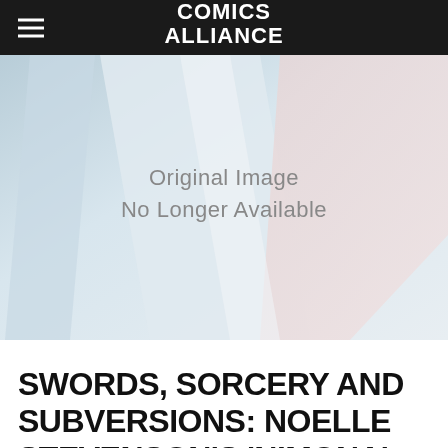COMICS ALLIANCE
[Figure (illustration): Placeholder image with geometric abstract background in light blue, white and pink tones, with text 'Original Image No Longer Available']
SWORDS, SORCERY AND SUBVERSIONS: NOELLE STEVENSON'S 'NIMONA'